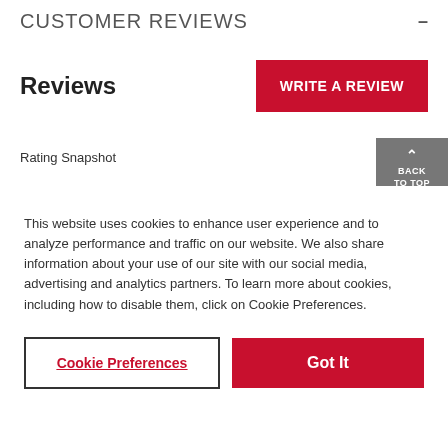CUSTOMER REVIEWS
Reviews
WRITE A REVIEW
Rating Snapshot
BACK TO TOP
This website uses cookies to enhance user experience and to analyze performance and traffic on our website. We also share information about your use of our site with our social media, advertising and analytics partners. To learn more about cookies, including how to disable them, click on Cookie Preferences.
Cookie Preferences
Got It